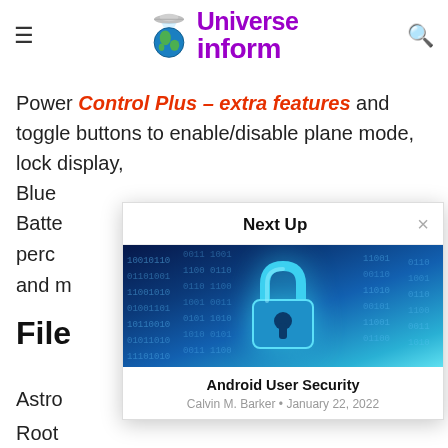Universe inform (logo/header bar)
Power Control Plus – extra features and toggle buttons to enable/disable plane mode, lock display, Blue[tooth...] Batt[ery...] perc[entage...] and m[ore...]
File[s...]
Astro[...]
Root[...]
mac[...]
Laun[...]
[Figure (screenshot): Next Up popup overlay showing an article preview. Header says 'Next Up' with an × close button. Image shows a blue padlock on a digital binary background. Article title: 'Android User Security'. Author: Calvin M. Barker. Date: January 22, 2022.]